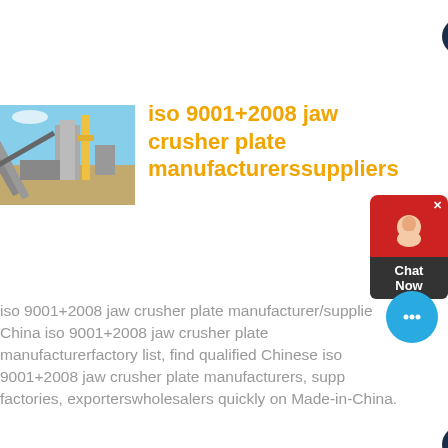Contact
[Figure (photo): Industrial jaw crusher / mining facility with conveyor belt and yellow structure outdoors]
iso 9001+2008 jaw crusher plate manufacturerssuppliers
iso 9001+2008 jaw crusher plate manufacturer/supplier, China iso 9001+2008 jaw crusher plate manufacturerfactory list, find qualified Chinese iso 9001+2008 jaw crusher plate manufacturers, suppliers, factories, exporterswholesalers quickly on Made-in-China.
Contact